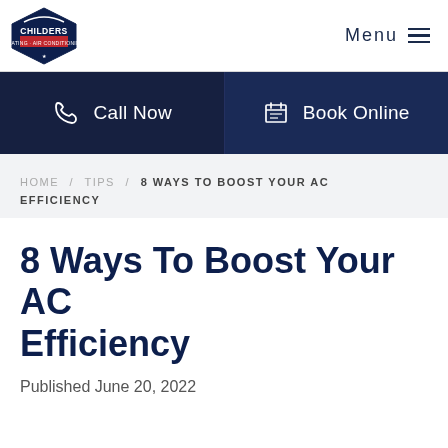Childers Heating & Air Conditioning — Menu
[Figure (other): Navigation bar with Call Now and Book Online buttons on dark navy background]
HOME / TIPS / 8 WAYS TO BOOST YOUR AC EFFICIENCY
8 Ways To Boost Your AC Efficiency
Published June 20, 2022